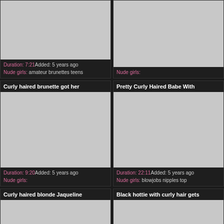[Figure (photo): Partial thumbnail top left, grey placeholder]
Duration: 7:21Added: 5 years ago
Nude girls: amateur brunettes teens
[Figure (photo): Partial thumbnail top right, grey placeholder, Nude girls: label visible]
Curly haired brunette got her
[Figure (photo): Grey placeholder thumbnail]
Duration: 9:20Added: 5 years ago
Nude girls:
Pretty Curly Haired Babe With
[Figure (photo): Grey placeholder thumbnail]
Duration: 22:11Added: 5 years ago
Nude girls: blowjobs nipples top
Curly haired blonde Jaqueline
[Figure (photo): Grey placeholder thumbnail partial]
Black hottie with curly hair gets
[Figure (photo): Grey placeholder thumbnail partial]